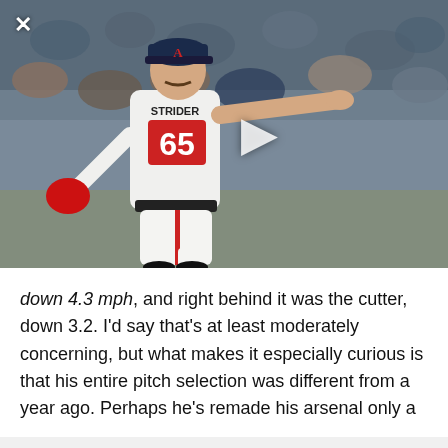[Figure (photo): Baseball pitcher wearing Atlanta Braves jersey number 65 (STRIDER), pointing to the right on the mound, with crowd in background. A play button icon is visible.]
down 4.3 mph, and right behind it was the cutter, down 3.2. I'd say that's at least moderately concerning, but what makes it especially curious is that his entire pitch selection was different from a year ago. Perhaps he's remade his arsenal only a